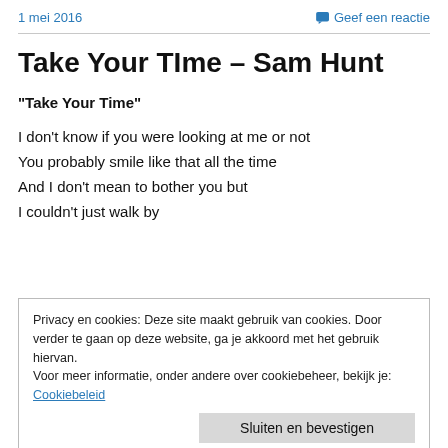1 mei 2016   💬 Geef een reactie
Take Your TIme – Sam Hunt
“Take Your Time”
I don’t know if you were looking at me or not
You probably smile like that all the time
And I don’t mean to bother you but
I couldn’t just walk by
Privacy en cookies: Deze site maakt gebruik van cookies. Door verder te gaan op deze website, ga je akkoord met het gebruik hiervan.
Voor meer informatie, onder andere over cookiebeheer, bekijk je:
Cookiebeleid
Sluiten en bevestigen
So I don’t wanna come on strong